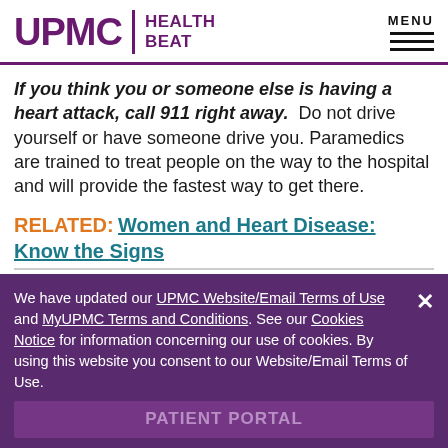UPMC HEALTH BEAT
If you think you or someone else is having a heart attack, call 911 right away. Do not drive yourself or have someone drive you. Paramedics are trained to treat people on the way to the hospital and will provide the fastest way to get there.
RELATED: Women and Heart Disease: Know the Signs
Connect with UPMC
We have updated our UPMC Website/Email Terms of Use and MyUPMC Terms and Conditions. See our Cookies Notice for information concerning our use of cookies. By using this website you consent to our Website/Email Terms of Use.